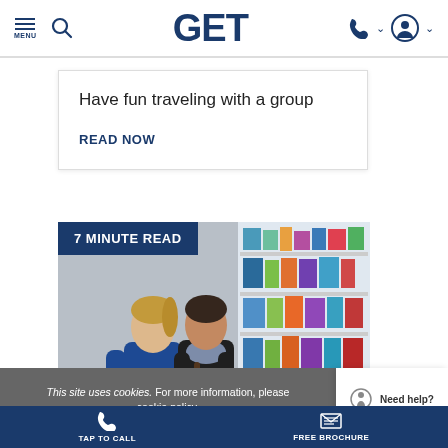MENU | GET
Have fun traveling with a group
READ NOW
[Figure (photo): 7 MINUTE READ badge over photo of two women in a pharmacy looking at products on shelves]
This site uses cookies. For more information, please cookie policy.
TAP TO CALL | FREE BROCHURE